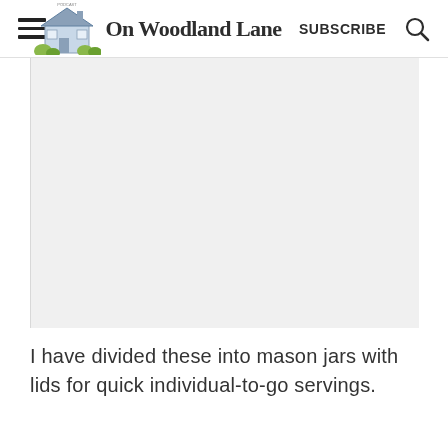On Woodland Lane — SUBSCRIBE
[Figure (photo): Large rectangular placeholder image area with light gray background, occupying the upper portion of the main content area]
I have divided these into mason jars with lids for quick individual-to-go servings.